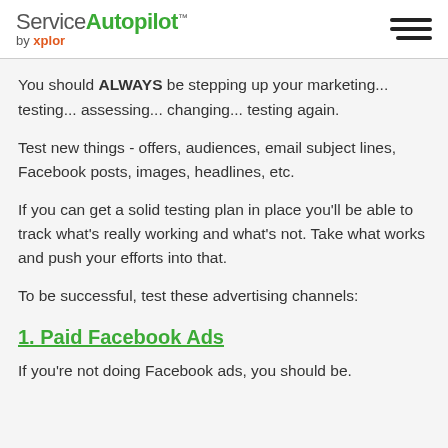Service Autopilot by xplor
You should ALWAYS be stepping up your marketing... testing... assessing... changing... testing again.
Test new things - offers, audiences, email subject lines, Facebook posts, images, headlines, etc.
If you can get a solid testing plan in place you'll be able to track what's really working and what's not. Take what works and push your efforts into that.
To be successful, test these advertising channels:
1. Paid Facebook Ads
If you're not doing Facebook ads, you should be.